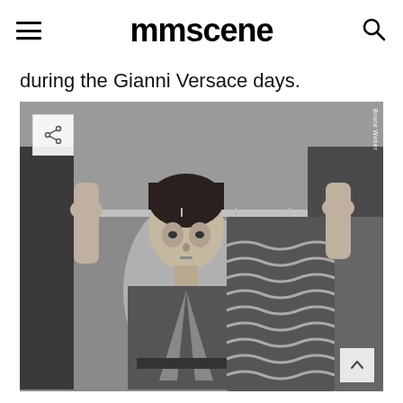mmscene
during the Gianni Versace days.
[Figure (photo): Black and white photograph of a male model standing behind a clothing rack holding garments on hangers, including a striped wavy-patterned sweater. The model leans on the rack bar looking at the camera. A share button icon appears in the top-left corner and a scroll-to-top arrow in the bottom-right. Photo credit reads 'Bruce Weber' vertically along the right edge.]